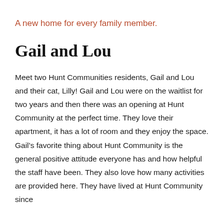A new home for every family member.
Gail and Lou
Meet two Hunt Communities residents, Gail and Lou and their cat, Lilly! Gail and Lou were on the waitlist for two years and then there was an opening at Hunt Community at the perfect time. They love their apartment, it has a lot of room and they enjoy the space. Gail’s favorite thing about Hunt Community is the general positive attitude everyone has and how helpful the staff have been. They also love how many activities are provided here. They have lived at Hunt Community since